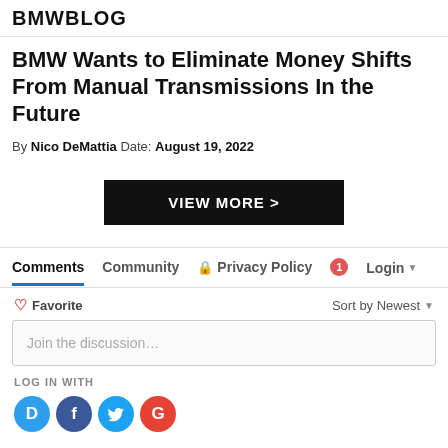BMWBLOG
BMW Wants to Eliminate Money Shifts From Manual Transmissions In the Future
By Nico DeMattia Date: August 19, 2022
VIEW MORE >
Comments  Community  🔒 Privacy Policy  1  Login
♡ Favorite   Sort by Newest
Join the discussion…
LOG IN WITH
[Figure (other): Social login icons: Disqus (D), Facebook (f), Twitter bird, Google (G)]